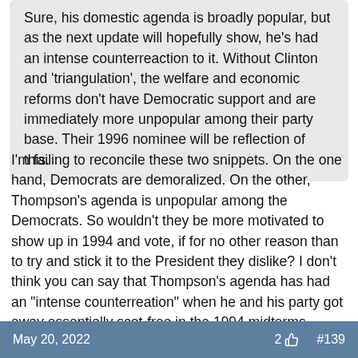Sure, his domestic agenda is broadly popular, but as the next update will hopefully show, he's had an intense counterreaction to it. Without Clinton and 'triangulation', the welfare and economic reforms don't have Democratic support and are immediately more unpopular among their party base. Their 1996 nominee will be reflection of this.
I'm failing to reconcile these two snippets. On the one hand, Democrats are demoralized. On the other, Thompson's agenda is unpopular among the Democrats. So wouldn't they be more motivated to show up in 1994 and vote, if for no other reason than to try and stick it to the President they dislike? I don't think you can say that Thompson's agenda has had an "intense counterreation" when he and his party got away essentially scot-free in the 1994 midterms. Sounds like to me Thompson is doing just fine.
May 20, 2022    2 👍    #139